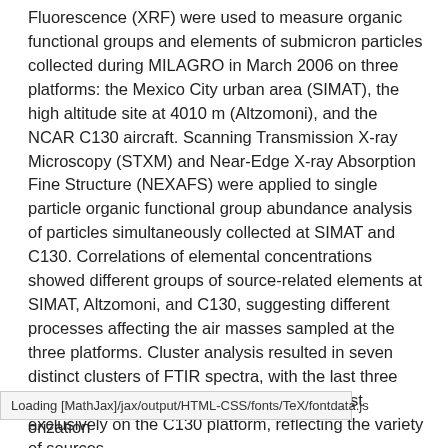Fluorescence (XRF) were used to measure organic functional groups and elements of submicron particles collected during MILAGRO in March 2006 on three platforms: the Mexico City urban area (SIMAT), the high altitude site at 4010 m (Altzomoni), and the NCAR C130 aircraft. Scanning Transmission X-ray Microscopy (STXM) and Near-Edge X-ray Absorption Fine Structure (NEXAFS) were applied to single particle organic functional group abundance analysis of particles simultaneously collected at SIMAT and C130. Correlations of elemental concentrations showed different groups of source-related elements at SIMAT, Altzomoni, and C130, suggesting different processes affecting the air masses sampled at the three platforms. Cluster analysis resulted in seven distinct clusters of FTIR spectra, with the last three clusters consisting of spectra collected almost exclusively on the C130 platform, reflecting the variety of sources
orization
Loading [MathJax]/jax/output/HTML-CSS/fonts/TeX/fontdata.js